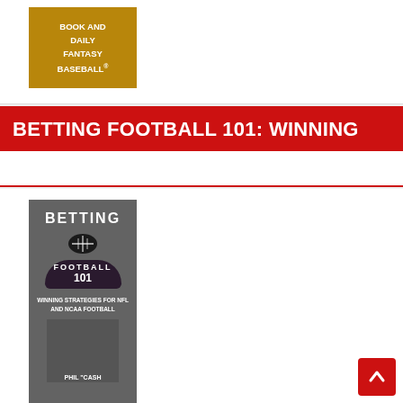[Figure (photo): Book cover partially visible showing text: BOOK AND DAILY FANTASY BASEBALL with a man in dark shirt]
BETTING FOOTBALL 101: WINNING
[Figure (photo): Book cover for Betting Football 101: Winning Strategies for NFL and NCAA Football by Phil Cash, showing football graphic and man wearing cap and sunglasses]